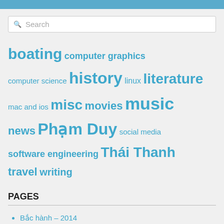Search
boating  computer graphics  computer science  history  linux  literature  mac and ios  misc  movies  music  news  Phạm Duy  social media  software engineering  Thái Thanh  travel  writing
PAGES
Bắc hành – 2014